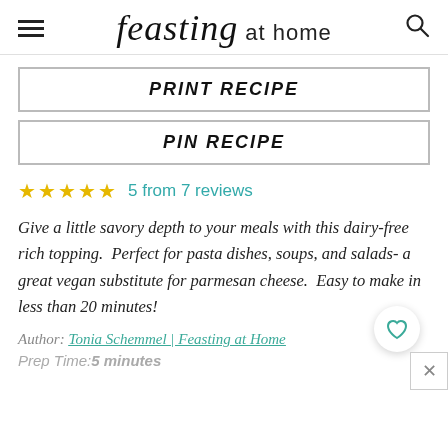feasting at home
PRINT RECIPE
PIN RECIPE
★★★★★  5 from 7 reviews
Give a little savory depth to your meals with this dairy-free rich topping.  Perfect for pasta dishes, soups, and salads- a  great vegan substitute for parmesan cheese.  Easy to make in less than 20 minutes!
Author: Tonia Schemmel | Feasting at Home
Prep Time:5 minutes